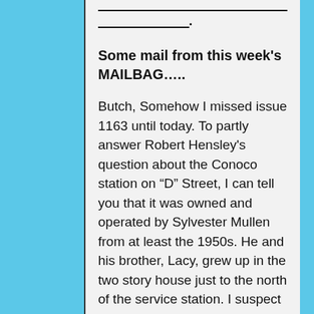Some mail from this week's MAILBAG…..
Butch, Somehow I missed issue 1163 until today. To partly answer Robert Hensley's question about the Conoco station on “D” Street, I can tell you that it was owned and operated by Sylvester Mullen from at least the 1950s. He and his brother, Lacy, grew up in the two story house just to the north of the service station. I suspect but don’t know for